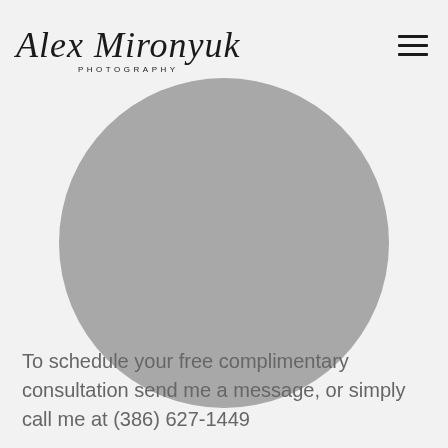Alex Mironyuk PHOTOGRAPHY
[Figure (photo): Large circular placeholder image in gray, representing a photography portrait area]
To schedule your free complimentary consultation send me a message, or simply call me at (386) 627-1449